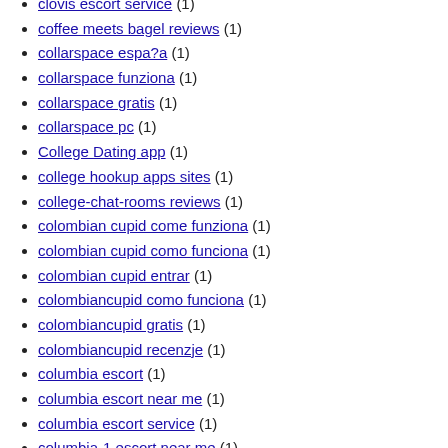clovis escort service (1)
coffee meets bagel reviews (1)
collarspace espa?a (1)
collarspace funziona (1)
collarspace gratis (1)
collarspace pc (1)
College Dating app (1)
college hookup apps sites (1)
college-chat-rooms reviews (1)
colombian cupid come funziona (1)
colombian cupid como funciona (1)
colombian cupid entrar (1)
colombiancupid como funciona (1)
colombiancupid gratis (1)
colombiancupid recenzje (1)
columbia escort (1)
columbia escort near me (1)
columbia escort service (1)
columbia-1 escort near me (1)
columbus escort index (1)
columbus-1 escort index (1)
columbus-1 live escort reviews (1)
compatible-partners-overzicht Dating (1)
compatible-partners-recenze Mobilní stránka (1)
connecting singles funziona (1)